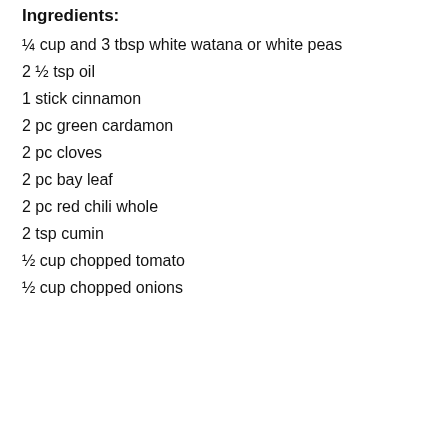Ingredients:
¼ cup and 3 tbsp white watana or white peas
2 ½ tsp oil
1 stick cinnamon
2 pc green cardamon
2 pc cloves
2 pc bay leaf
2 pc red chili whole
2 tsp cumin
½ cup chopped tomato
½ cup chopped onions